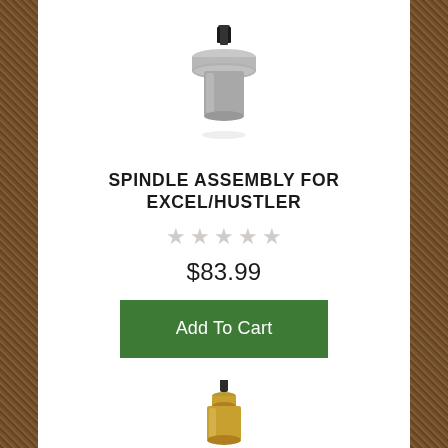[Figure (photo): Metal spindle assembly component — a machined aluminum/steel hub with a splined shaft on top and cylindrical body, photographed on white background]
SPINDLE ASSEMBLY FOR EXCEL/HUSTLER
★★★★★ (empty star rating)
$83.99
Add To Cart
[Figure (photo): Partial view of a second spindle assembly product — gold/brass colored, visible from the top portion only at the bottom of the page]